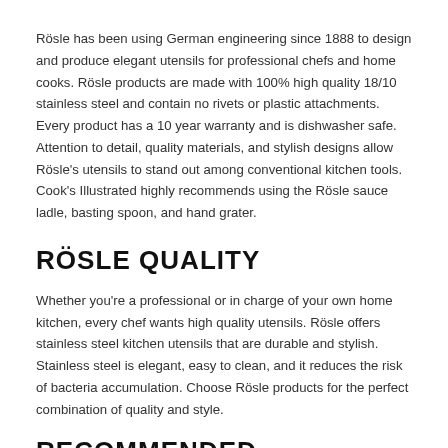Rösle has been using German engineering since 1888 to design and produce elegant utensils for professional chefs and home cooks. Rösle products are made with 100% high quality 18/10 stainless steel and contain no rivets or plastic attachments. Every product has a 10 year warranty and is dishwasher safe. Attention to detail, quality materials, and stylish designs allow Rösle's utensils to stand out among conventional kitchen tools. Cook's Illustrated highly recommends using the Rösle sauce ladle, basting spoon, and hand grater.
RÖSLE QUALITY
Whether you're a professional or in charge of your own home kitchen, every chef wants high quality utensils. Rösle offers stainless steel kitchen utensils that are durable and stylish. Stainless steel is elegant, easy to clean, and it reduces the risk of bacteria accumulation. Choose Rösle products for the perfect combination of quality and style.
RECOMMENDED PRODUCTS